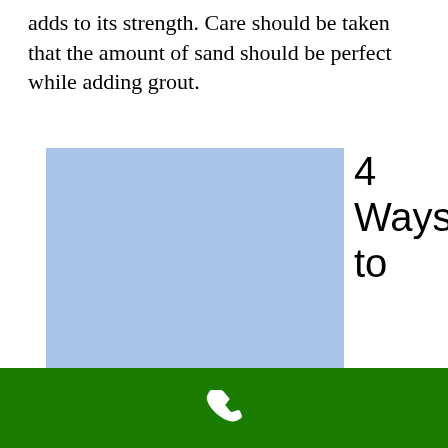adds to its strength. Care should be taken that the amount of sand should be perfect while adding grout.
[Figure (illustration): A light blue rectangle occupying the left-center portion of the page, representing an image placeholder.]
4
Ways
to
[Figure (other): Green bar at the bottom of the page with a white phone/call icon in the center.]